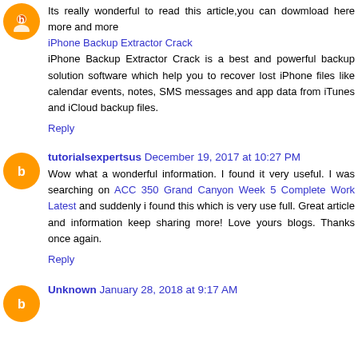Its really wonderful to read this article,you can dowmload here more and more
iPhone Backup Extractor Crack
iPhone Backup Extractor Crack is a best and powerful backup solution software which help you to recover lost iPhone files like calendar events, notes, SMS messages and app data from iTunes and iCloud backup files.
Reply
tutorialsexpertsus December 19, 2017 at 10:27 PM
Wow what a wonderful information. I found it very useful. I was searching on ACC 350 Grand Canyon Week 5 Complete Work Latest and suddenly i found this which is very use full. Great article and information keep sharing more! Love yours blogs. Thanks once again.
Reply
Unknown January 28, 2018 at 9:17 AM